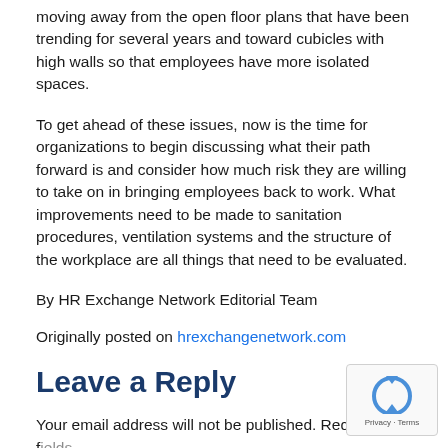moving away from the open floor plans that have been trending for several years and toward cubicles with high walls so that employees have more isolated spaces.
To get ahead of these issues, now is the time for organizations to begin discussing what their path forward is and consider how much risk they are willing to take on in bringing employees back to work. What improvements need to be made to sanitation procedures, ventilation systems and the structure of the workplace are all things that need to be evaluated.
By HR Exchange Network Editorial Team
Originally posted on hrexchangenetwork.com
Leave a Reply
Your email address will not be published. Required fields are marked *